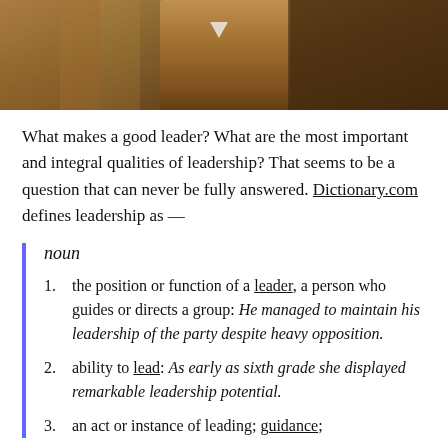[Figure (photo): Cropped photo of a person wearing a gold/brown uniform with a badge or insignia, partially visible from the chest up. Background shows blurred interior elements.]
What makes a good leader? What are the most important and integral qualities of leadership? That seems to be a question that can never be fully answered. Dictionary.com defines leadership as —
noun
the position or function of a leader, a person who guides or directs a group: He managed to maintain his leadership of the party despite heavy opposition.
ability to lead: As early as sixth grade she displayed remarkable leadership potential.
an act or instance of leading; guidance;